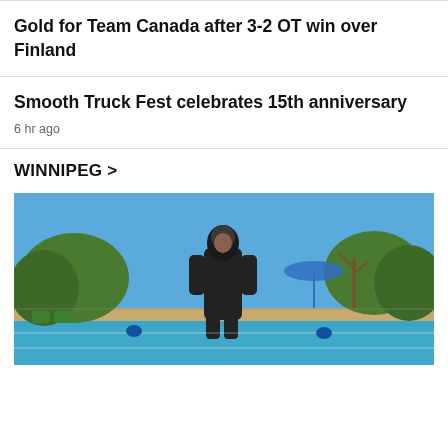Gold for Team Canada after 3-2 OT win over Finland
Smooth Truck Fest celebrates 15th anniversary
6 hr ago
WINNIPEG >
[Figure (photo): A person wearing a black burkini/modest swimwear and hijab standing by an outdoor public swimming pool on a sunny day with trees and a blue umbrella in the background.]